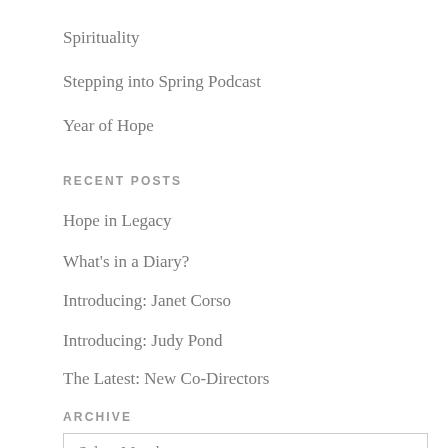Spirituality
Stepping into Spring Podcast
Year of Hope
RECENT POSTS
Hope in Legacy
What's in a Diary?
Introducing: Janet Corso
Introducing: Judy Pond
The Latest: New Co-Directors
ARCHIVE
Select Month